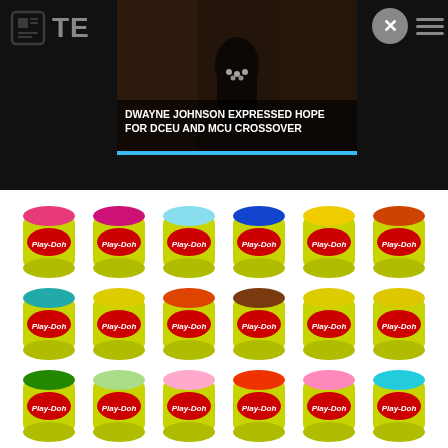[Figure (screenshot): Screenshot of a news/media app showing a dark top bar with a partial logo 'TE', a close X button, hamburger menu, and a news thumbnail showing Dwayne Johnson in Black Adam costume with headline 'DWAYNE JOHNSON EXPRESSED HOPE FOR DCEU AND MCU CROSSOVER' with a cyan accent bar below.]
[Figure (photo): Product photo of multiple rows of Play-Doh cans in various lid colors (pink, magenta, light blue, dark blue, yellow, orange, teal, yellow, orange, red, brown, yellow, yellow, green, light green, pink, red/orange, pink, yellow, blue, pink, pink, black, red) arranged in a grid on a white background.]